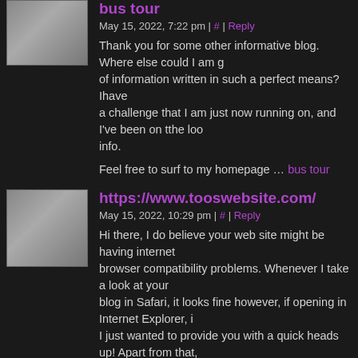[Figure (illustration): Gray avatar placeholder image for comment 1]
bus tour
May 15, 2022, 7:22 pm | # | Reply
Thank you for some other informative blog. Where else could I am g of information written in such a perfect means? Ihave a challenge that I am just now running on, and I've been on tthe loo info.
Feel free to surf to my homepage … bus tour
[Figure (illustration): Gray avatar placeholder image for comment 2]
https://www.tooswebsite.com/
May 15, 2022, 10:29 pm | # | Reply
Hi there, I do believe your web site might be having internet browser compatibility problems. Whenever I take a look at your blog in Safari, it looks fine however, if opening in Internet Explorer, i I just wanted to provide you with a quick heads up! Apart from that,
[Figure (illustration): Gray avatar placeholder image for comment 3]
https://www.4shared.com/u/akhbzXsa/JaneMille
May 15, 2022, 11:38 pm | # | Reply
Aw, this was a really nice post. Spending some time and actual effo to make a really good article… but what can I say… I put things off get nearly anything done.
[Figure (illustration): Gray avatar placeholder image for comment 4]
travel companies
May 16, 2022, 1:58 am | # | Reply